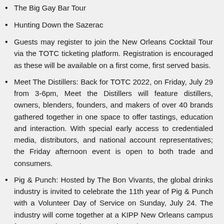The Big Gay Bar Tour
Hunting Down the Sazerac
Guests may register to join the New Orleans Cocktail Tour via the TOTC ticketing platform. Registration is encouraged as these will be available on a first come, first served basis.
Meet The Distillers: Back for TOTC 2022, on Friday, July 29 from 3-6pm, Meet the Distillers will feature distillers, owners, blenders, founders, and makers of over 40 brands gathered together in one space to offer tastings, education and interaction. With special early access to credentialed media, distributors, and national account representatives; the Friday afternoon event is open to both trade and consumers.
Pig & Punch: Hosted by The Bon Vivants, the global drinks industry is invited to celebrate the 11th year of Pig & Punch with a Volunteer Day of Service on Sunday, July 24. The industry will come together at a KIPP New Orleans campus for some serious volunteer work, as they